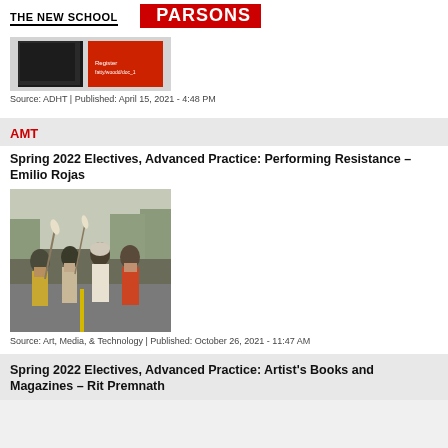THE NEW SCHOOL PARSONS
[Figure (photo): Red and black book/publication cover on light background]
Source: ADHT | Published: April 15, 2021 - 4:48 PM
AMT
Spring 2022 Electives, Advanced Practice: Performing Resistance – Emilio Rojas
[Figure (photo): Group of people walking in a procession or protest outdoors on a road, wearing traditional and colorful clothing, carrying items]
Source: Art, Media, & Technology | Published: October 26, 2021 - 11:47 AM
Spring 2022 Electives, Advanced Practice: Artist's Books and Magazines – Rit Premnath